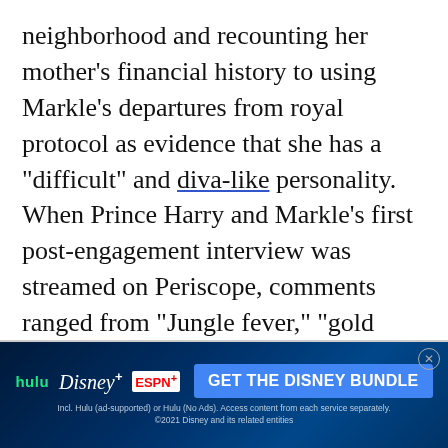neighborhood and recounting her mother's financial history to using Markle's departures from royal protocol as evidence that she has a "difficult" and diva-like personality. When Prince Harry and Markle's first post-engagement interview was streamed on Periscope, comments ranged from "Jungle fever," "gold digger," and "biracial commoner" to "whitest black girl" and "unsuitable." In 2016, the royal family even broke their usual silence and issued a public statement on the Markle-hatred, observing that "a line [had been] crossed. [Prince Harry's] girlfriend, Meghan Markle, has been subject to a wave of abuse and harassment. Some of this has been very public
[Figure (other): Advertisement banner for Disney Bundle (Hulu, Disney+, ESPN+) with blue/dark background and white/green text. Call-to-action button: GET THE DISNEY BUNDLE. Fine print: Incl. Hulu (ad-supported) or Hulu (No Ads). Access content from each service separately. ©2021 Disney and its related entities]